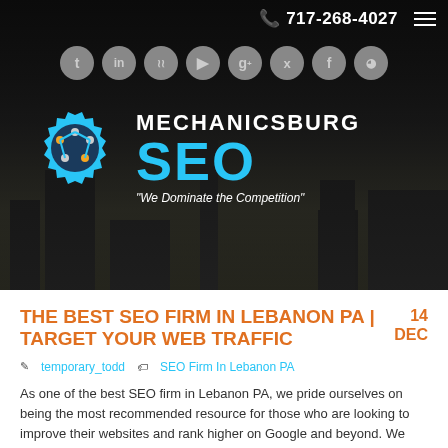[Figure (screenshot): Website header with dark background showing city skyline, phone number 717-268-4027, hamburger menu, social media icons (Twitter, LinkedIn, Flickr, YouTube, Google+, Twitter, Facebook, RSS), Mechanicsburg SEO logo with gear icon and tagline 'We Dominate the Competition']
THE BEST SEO FIRM IN LEBANON PA | TARGET YOUR WEB TRAFFIC
14 DEC
temporary_todd   SEO Firm In Lebanon PA
As one of the best SEO firm in Lebanon PA, we pride ourselves on being the most recommended resource for those who are looking to improve their websites and rank higher on Google and beyond. We drive your business success forward by optimizing your website for viewing on desktop computers, PCs, and mobile phones.